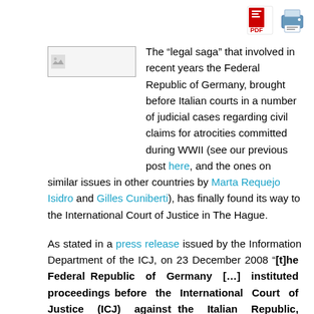[Figure (other): PDF icon and print icon in top-right corner]
[Figure (photo): Small thumbnail placeholder image]
The “legal saga” that involved in recent years the Federal Republic of Germany, brought before Italian courts in a number of judicial cases regarding civil claims for atrocities committed during WWII (see our previous post here, and the ones on similar issues in other countries by Marta Requejo Isidro and Gilles Cuniberti), has finally found its way to the International Court of Justice in The Hague.
As stated in a press release issued by the Information Department of the ICJ, on 23 December 2008 “[t]he Federal Republic of Germany [...] instituted proceedings before the International Court of Justice (ICJ) against the Italian Republic, alleging that ‘[t]hrough its judicial practice . . . Italy has infringed and continues to infringe its obligations towards Germany under international law’”.